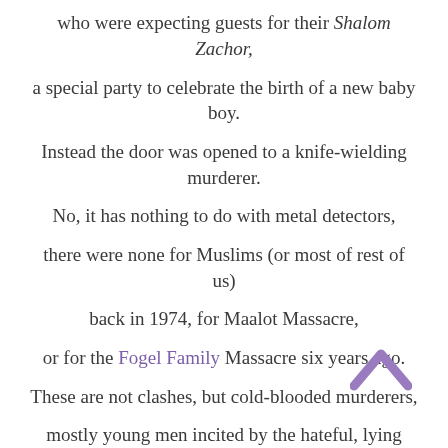who were expecting guests for their Shalom Zachor,
a special party to celebrate the birth of a new baby boy.
Instead the door was opened to a knife-wielding murderer.
No, it has nothing to do with metal detectors,
there were none for Muslims (or most of rest of us)
back in 1974, for Maalot Massacre,
or for the Fogel Family Massacre six years ago.
These are not clashes, but cold-blooded murderers,
mostly young men incited by the hateful, lying